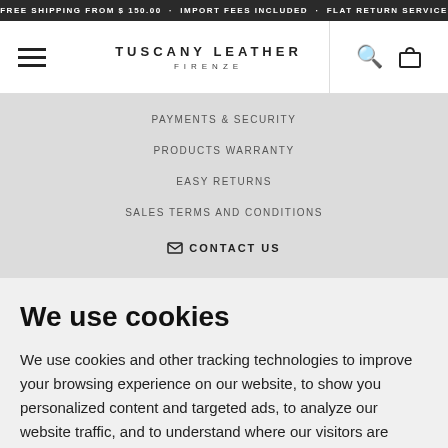FREE SHIPPING FROM $ 150.00 · IMPORT FEES INCLUDED · FLAT RETURN SERVICE
[Figure (screenshot): Tuscany Leather Firenze website navigation header with hamburger menu, brand name centered, search icon and shopping bag icon on the right]
PAYMENTS & SECURITY
PRODUCTS WARRANTY
EASY RETURNS
SALES TERMS AND CONDITIONS
✉ CONTACT US
We use cookies
We use cookies and other tracking technologies to improve your browsing experience on our website, to show you personalized content and targeted ads, to analyze our website traffic, and to understand where our visitors are coming from.